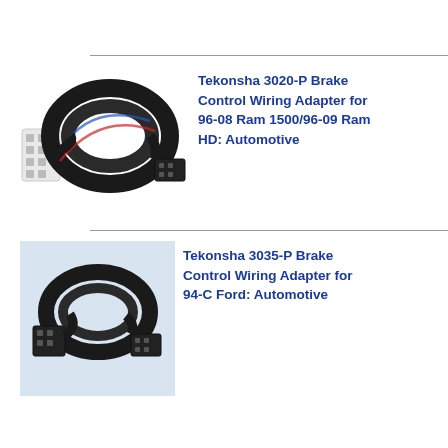[Figure (photo): Wiring adapter cable with connectors on both ends, coiled black cable with blue and red wires visible, white multi-pin connector on left and small black connector on right]
Tekonsha 3020-P Brake Control Wiring Adapter for 96-08 Ram 1500/96-09 Ram HD: Automotive
[Figure (photo): Wiring adapter cable with connectors on both ends, coiled black cable, black connectors on both ends, shown on light blue-grey background]
Tekonsha 3035-P Brake Control Wiring Adapter for 94-C Ford: Automotive